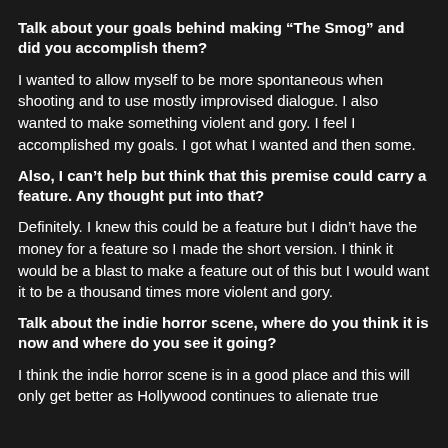Talk about your goals behind making “The Smog” and did you accomplish them?
I wanted to allow myself to be more spontaneous when shooting and to use mostly improvised dialogue. I also wanted to make something violent and gory. I feel I accomplished my goals. I got what I wanted and then some.
Also, I can’t help but think that this premise could carry a feature. Any thought put into that?
Definitely. I knew this could be a feature but I didn’t have the money for a feature so I made the short version. I think it would be a blast to make a feature out of this but I would want it to be a thousand times more violent and gory.
Talk about the indie horror scene, where do you think it is now and where do you see it going?
I think the indie horror scene is in a good place and this will only get better as Hollywood continues to alienate true